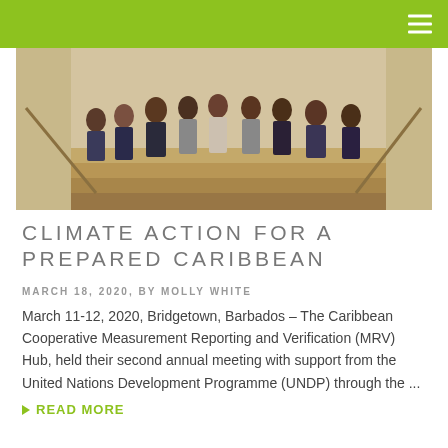[Figure (photo): Group of approximately 8 people standing on indoor stairs in formal attire, posed for a group photo in what appears to be a conference or official building.]
CLIMATE ACTION FOR A PREPARED CARIBBEAN
MARCH 18, 2020, BY MOLLY WHITE
March 11-12, 2020, Bridgetown, Barbados – The Caribbean Cooperative Measurement Reporting and Verification (MRV) Hub, held their second annual meeting with support from the United Nations Development Programme (UNDP) through the ...
READ MORE